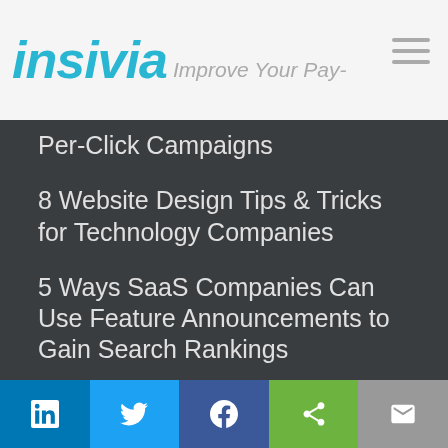insivia Improve Your Pay-
Per-Click Campaigns
8 Website Design Tips & Tricks for Technology Companies
5 Ways SaaS Companies Can Use Feature Announcements to Gain Search Rankings
Why Search Traffic Is Still the Top Driver for Software Companies
Top 5 Digital Marketing Trends for